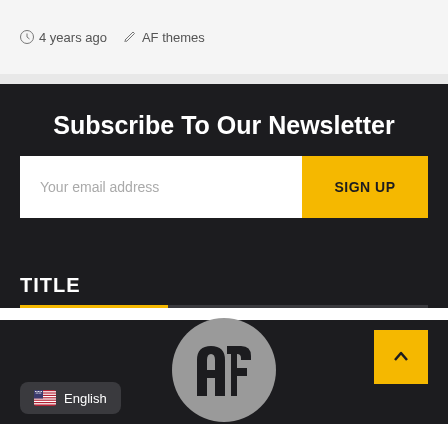4 years ago   AF themes
Subscribe To Our Newsletter
Your email address
SIGN UP
TITLE
English
[Figure (logo): AF themes logo — grey circular background with dark stylized 'af' letterform]